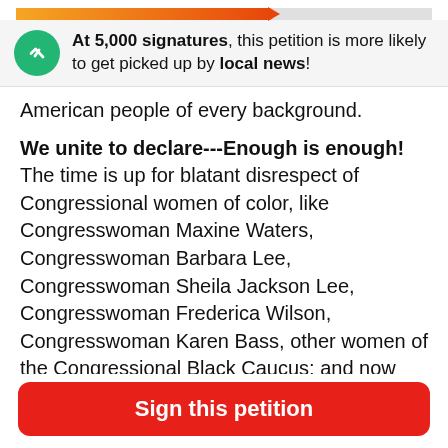[Figure (infographic): Progress bar showing petition signature milestone, gradient from orange to red with arrow tip pointing right, approximately 62% filled]
At 5,000 signatures, this petition is more likely to get picked up by local news!
American people of every background.
We unite to declare---Enough is enough! The time is up for blatant disrespect of Congressional women of color, like Congresswoman Maxine Waters, Congresswoman Barbara Lee, Congresswoman Sheila Jackson Lee, Congresswoman Frederica Wilson, Congresswoman Karen Bass, other women of the Congressional Black Caucus; and now the four freshmen congressional women of color (referred to as The Squad) and others. Also, the time is up for people of color being the targets and scapegoats for America's failed policies, fictions, and realities...
Sign this petition